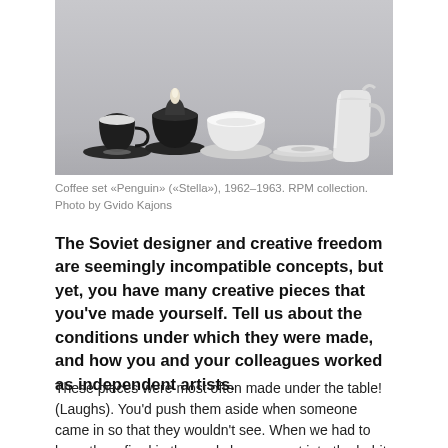[Figure (photo): A coffee set consisting of cups, saucers, a sugar bowl, and a cream jug in white and dark (black/dark grey) ceramic, arranged on a light grey background. The set is called Penguin (Stella), dated 1962-1963.]
Coffee set «Penguin» («Stella»), 1962–1963. RPM collection. Photo by Gvido Kajons
The Soviet designer and creative freedom are seemingly incompatible concepts, but yet, you have many creative pieces that you've made yourself. Tell us about the conditions under which they were made, and how you and your colleagues worked as independent artists.
These pieces were most often made under the table! (Laughs). You'd push them aside when someone came in so that they wouldn't see. When we had to have them fired in the workshop, we got into the habit of putting them in late in the evening when everyone had left, and then running there first thing in the morning to take them out ourselves